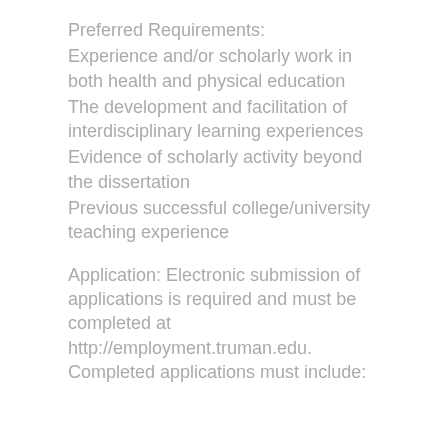Preferred Requirements:
Experience and/or scholarly work in both health and physical education
The development and facilitation of interdisciplinary learning experiences
Evidence of scholarly activity beyond the dissertation
Previous successful college/university teaching experience
Application: Electronic submission of applications is required and must be completed at http://employment.truman.edu. Completed applications must include: